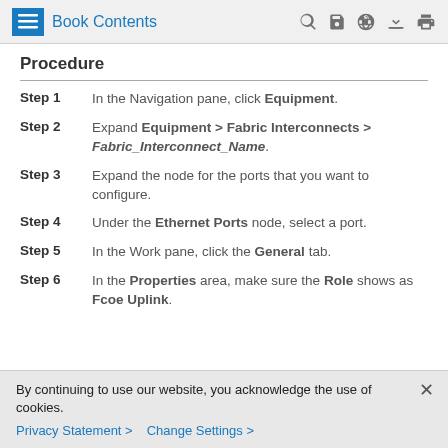Book Contents
Procedure
Step 1 — In the Navigation pane, click Equipment.
Step 2 — Expand Equipment > Fabric Interconnects > Fabric_Interconnect_Name.
Step 3 — Expand the node for the ports that you want to configure.
Step 4 — Under the Ethernet Ports node, select a port.
Step 5 — In the Work pane, click the General tab.
Step 6 — In the Properties area, make sure the Role shows as Fcoe Uplink.
By continuing to use our website, you acknowledge the use of cookies.
Privacy Statement > Change Settings >